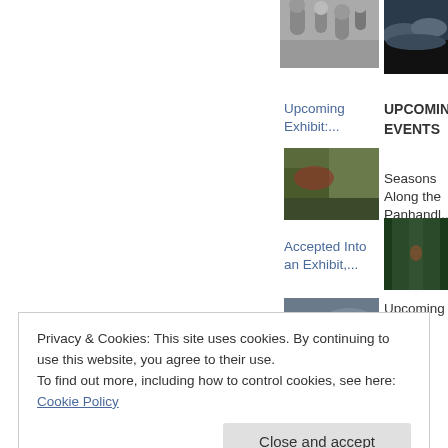[Figure (photo): Black and white macro photo of plant/dandelion seed heads]
[Figure (photo): Dark dramatic sky with clouds over landscape]
Upcoming Exhibit:...
UPCOMING EVENTS
[Figure (photo): Nature macro photo with green and red plants/moss]
Seasons Along the Panhandl...
Accepted Into an Exhibit,...
[Figure (photo): Forest path with green trees and person in red]
[Figure (photo): Dramatic sky with storm clouds]
Upcoming Events, June...
Privacy & Cookies: This site uses cookies. By continuing to use this website, you agree to their use.
To find out more, including how to control cookies, see here: Cookie Policy
Close and accept
EVENTS   RECENT EVENTS